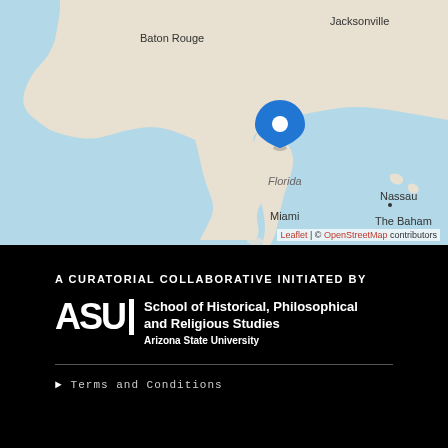[Figure (map): Map showing Florida with a blue location pin marker in central Florida. Cities labeled include Baton Rouge, Jacksonville, Miami, Nassau, and The Bahamas. Map attribution: Leaflet | © OpenStreetMap contributors.]
Leaflet | © OpenStreetMap contributors
A CURATORIAL COLLABORATIVE INITIATED BY
[Figure (logo): ASU logo: Arizona State University, School of Historical, Philosophical and Religious Studies]
Terms and Conditions